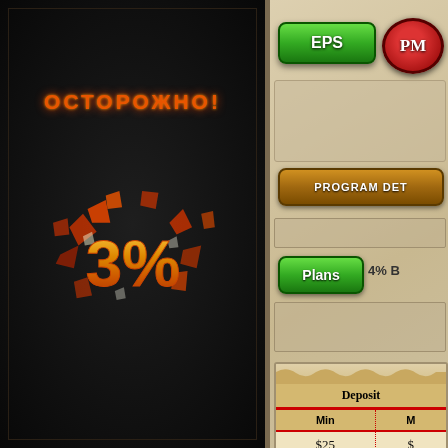[Figure (illustration): Dark panel with warning text 'ОСТОРОЖНО!' in orange and a stylized 3% text with explosive/shattered effect in orange and gold on black background]
[Figure (other): EPS green button on parchment background]
[Figure (other): PM circular red logo]
[Figure (other): PROGRAM DET... (details) orange button]
[Figure (other): Plans green button with 4% B... text]
| Deposit |  | Min | M |
| --- | --- | --- | --- |
| $25 | $ |
| $31 | $ |
| $41 | $ |